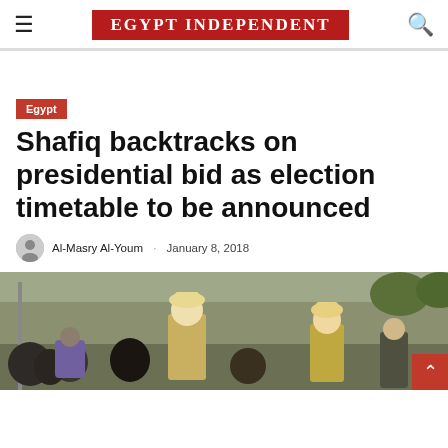EGYPT INDEPENDENT
Egypt
Shafiq backtracks on presidential bid as election timetable to be announced
Al-Masry Al-Youm · January 8, 2018
[Figure (photo): Street scene with Egyptian soldiers in white uniforms and people in the background]